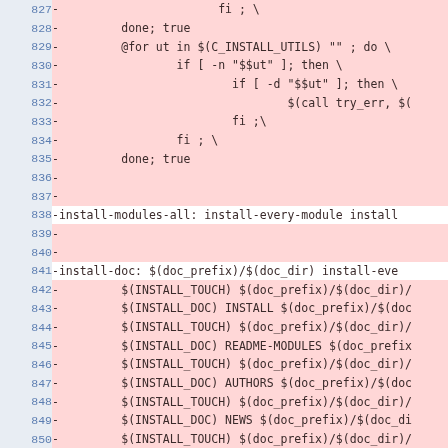| line | content |
| --- | --- |
| 827 | -                       fi ; \ |
| 828 | -         done; true |
| 829 | -         @for ut in $(C_INSTALL_UTILS) "" ; do \ |
| 830 | -                 if [ -n "$$ut" ]; then \ |
| 831 | -                         if [ -d "$$ut" ]; then \ |
| 832 | -                                 $(call try_err, $( |
| 833 | -                         fi ;\ |
| 834 | -                 fi ; \ |
| 835 | -         done; true |
| 836 | - |
| 837 | - |
| 838 | -install-modules-all: install-every-module install |
| 839 | - |
| 840 | - |
| 841 | -install-doc: $(doc_prefix)/$(doc_dir) install-eve |
| 842 | -         $(INSTALL_TOUCH) $(doc_prefix)/$(doc_dir)/ |
| 843 | -         $(INSTALL_DOC) INSTALL $(doc_prefix)/$(doc |
| 844 | -         $(INSTALL_TOUCH) $(doc_prefix)/$(doc_dir)/ |
| 845 | -         $(INSTALL_DOC) README-MODULES $(doc_prefix |
| 846 | -         $(INSTALL_TOUCH) $(doc_prefix)/$(doc_dir)/ |
| 847 | -         $(INSTALL_DOC) AUTHORS $(doc_prefix)/$(doc |
| 848 | -         $(INSTALL_TOUCH) $(doc_prefix)/$(doc_dir)/ |
| 849 | -         $(INSTALL_DOC) NEWS $(doc_prefix)/$(doc_di |
| 850 | -         $(INSTALL_TOUCH) $(doc_prefix)/$(doc_dir)/ |